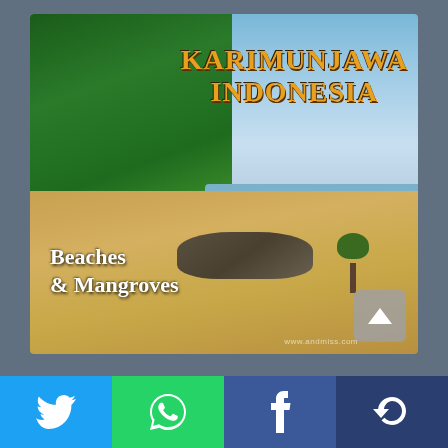[Figure (photo): Tropical beach scene at Karimunjawa, Indonesia. Lush green trees on the left, golden sandy beach in the center-left, calm blue ocean water on the right with rocks along the shoreline and a small mangrove tree standing in the shallow water. Text overlay: 'KARIMUNJAWA INDONESIA' in orange at top right, 'Beaches & Mangroves' in white at bottom left. Scroll-up button in bottom right corner.]
[Figure (infographic): Social sharing bar at the bottom with four buttons: Twitter (blue, bird icon), WhatsApp (green, phone icon), Facebook (dark blue, f icon), and another share option (dark blue, circular arrow icon)]